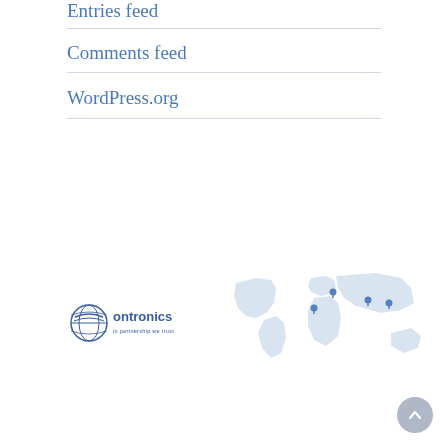Entries feed
Comments feed
WordPress.org
[Figure (logo): Ontronics logo with globe icon and tagline 'in partnership we trust']
[Figure (map): Light blue world map with blue location pin markers on several continents]